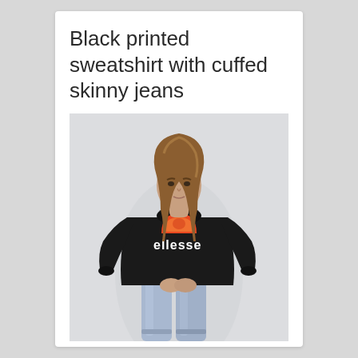Black printed sweatshirt with cuffed skinny jeans
[Figure (photo): A young woman with long brown hair wearing a black Ellesse branded sweatshirt and light blue cuffed skinny jeans, standing against a light grey background.]